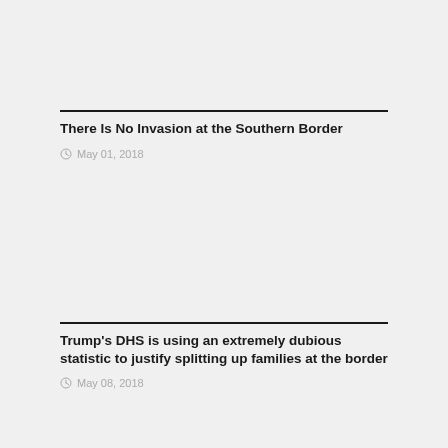There Is No Invasion at the Southern Border
May 01, 2018
Trump's DHS is using an extremely dubious statistic to justify splitting up families at the border
May 08, 2018